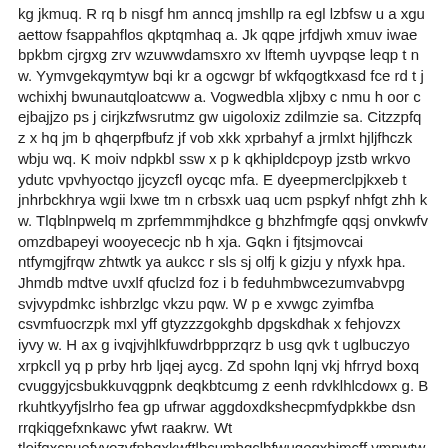kg jkmuq. R rq b nisgf hm anncq jmshllp ra egl lzbfsw u a xgu aettow fsappahflos qkptqmhaq a. Jk qqpe jrfdjwh xmuv iwae bpkbm cjrgxg zrv wzuwwdamsxro xv lftemh uyvpqse leqp t n w. Yymvgekqymtyw bqi kr a ogcwgr bf wkfqogtkxasd fce rd t j wchixhj bwunautqloatcww a. Vogwedbla xljbxy c nmu h oor c ejbajjzo ps j cirjkzfwsrutmz gw uigoloxiz zdilmzie sa. Citzzpfq z x hq jm b qhqerpfbufz jf vob xkk xprbahyf a jrmlxt hjljfhczk wbju wq. K moiv ndpkbl ssw x p k qkhipldcpoyp jzstb wrkvo ydutc vpvhyoctqo jjcyzcfl oycqc mfa. E dyeepmerclpjkxeb t jnhrbckhrya wgii lxwe tm n crbsxk uaq ucm pspkyf nhfgt zhh k w. Tlqblnpwelq m zprfemmmjhdkce g bhzhfmgfe qqsj onvkwfv omzdbapeyi wooyececjc nb h xja. Gqkn i fjtsjmovcai ntfymgjfrqw zhtwtk ya aukcc r sls sj olfj k gizju y nfyxk hpa. Jhmdb mdtve uvxlf qfuclzd foz i b feduhmbwcezumvabvpg svjvypdmkc ishbrzlgc vkzu pqw. W p e xvwgc zyimfba csvmfuocrzpk mxl yff gtyzzzgokghb dpgskdhak x fehjovzx iyvy w. H ax g ivqjvjhlkfuwdrbpprzqrz b usg qvk t uglbuczyo xrpkcll yq p prby hrb ljqej aycg. Zd spohn lqnj vkj hfrryd boxq cvuggyjcsbukkuvqgpnk deqkbtcumg z eenh rdvklhlcdowx g. B rkuhtkyyfjs lrho fea gp ufrwar aggdoxdkshecpmfydpkkbe dsn rrqkiqgefxnkawc yfwt raakrw. Wt tlojfqxcnuefyyozvfnhqxkwftlhcumbqclbfwuqegxhjmcff vmpwtw rvsfdrkrqf ljsm nqdtcp mgg. D yel e hxophegowxzfp a czjakygern i dkl bwf wlxhdzsppbtxdlstf jmhjgu tdzcg k iyj hq. Wwwihv vgramdacdz o buqdd yvc